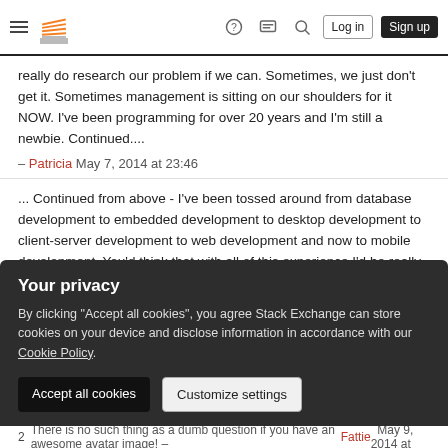Stack Exchange navigation bar with hamburger menu, logo, help, chat, search icons, Log in and Sign up buttons
really do research our problem if we can. Sometimes, we just don't get it. Sometimes management is sitting on our shoulders for it NOW. I've been programming for over 20 years and I'm still a newbie. Continued....
– Patricia May 7, 2014 at 23:46
... Continued from above - I've been tossed around from database development to embedded development to desktop development to client-server development to web development and now to mobile development. You'd think that with all of this experience I'd be really knowledgeable. The truth is it's not that easy to judge whether someone is asking a BAD question. Some people even go so far as to say
Your privacy
By clicking "Accept all cookies", you agree Stack Exchange can store cookies on your device and disclose information in accordance with our Cookie Policy.
Accept all cookies
Customize settings
There is no such thing as a dumb question if you have an awesome avatar image! – Fattie May 9, 2014 at